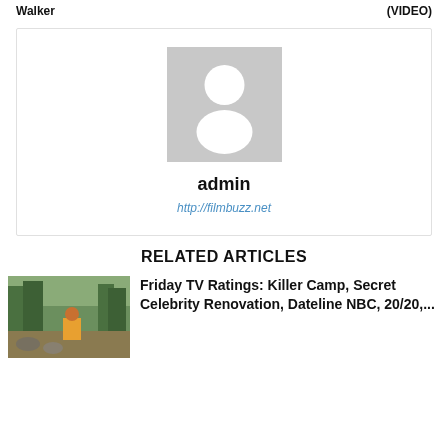Walker	(VIDEO)
[Figure (photo): Author profile card with generic grey avatar placeholder, username 'admin', and link http://filmbuzz.net]
admin
http://filmbuzz.net
RELATED ARTICLES
[Figure (photo): Thumbnail image of a woman outdoors in a camp/nature setting]
Friday TV Ratings: Killer Camp, Secret Celebrity Renovation, Dateline NBC, 20/20,...